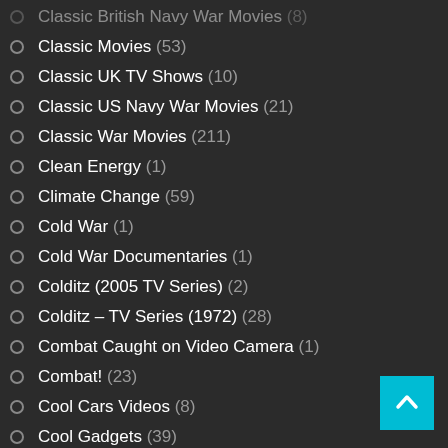Classic British Navy War Movies (8)
Classic Movies (53)
Classic UK TV Shows (10)
Classic US Navy War Movies (21)
Classic War Movies (211)
Clean Energy (1)
Climate Change (59)
Cold War (1)
Cold War Documentaries (1)
Colditz (2005 TV Series) (2)
Colditz – TV Series (1972) (28)
Combat Caught on Video Camera (1)
Combat! (23)
Cool Cars Videos (8)
Cool Gadgets (39)
Cool Technology (43)
Coronavirus/ Covid19 (169)
covid (4)
Covid19 (20)